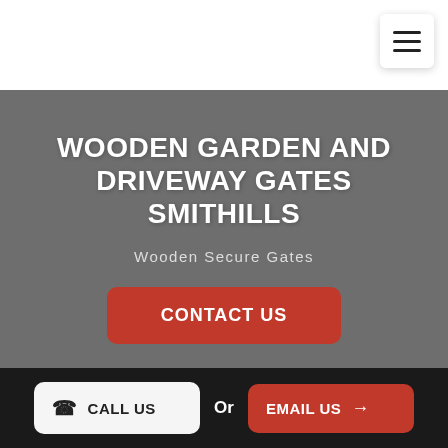[Figure (other): Hamburger menu icon button in top right corner]
WOODEN GARDEN AND DRIVEWAY GATES SMITHILLS
Wooden Secure Gates
CONTACT US
CALL US
Or
EMAIL US →